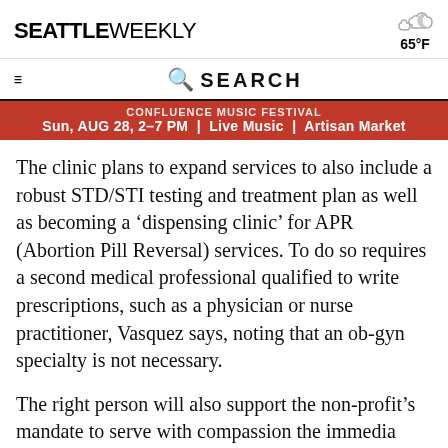SEATTLE WEEKLY | 65°F
[Figure (other): Navigation bar with hamburger menu icon and search bar]
[Figure (other): Orange/red banner advertisement: 'CONFLUENCE MUSIC FESTIVAL - Sun, AUG 28, 2-7 PM | Live Music | Artisan Market']
The clinic plans to expand services to also include a robust STD/STI testing and treatment plan as well as becoming a 'dispensing clinic' for APR (Abortion Pill Reversal) services. To do so requires a second medical professional qualified to write prescriptions, such as a physician or nurse practitioner, Vasquez says, noting that an ob-gyn specialty is not necessary.
The right person will also support the non-profit's mandate to serve with compassion the immediate and long term needs of any woman with an unplanned pregnancy, Vasquez says.